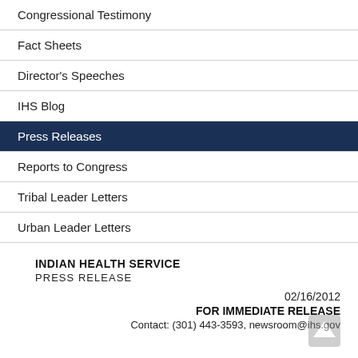Congressional Testimony
Fact Sheets
Director's Speeches
IHS Blog
Press Releases
Reports to Congress
Tribal Leader Letters
Urban Leader Letters
INDIAN HEALTH SERVICE
PRESS RELEASE
02/16/2012
FOR IMMEDIATE RELEASE
Contact: (301) 443-3593, newsroom@ihs.gov